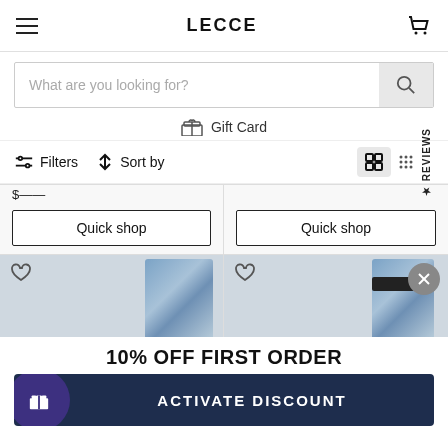LECCE
What are you looking for?
Gift Card
Filters  Sort by
[Figure (screenshot): Two product cards showing partial prices and Quick shop buttons, and two product cards below showing jeans/denim product images with heart/wishlist icons and a close (X) button]
10% OFF FIRST ORDER
ACTIVATE DISCOUNT